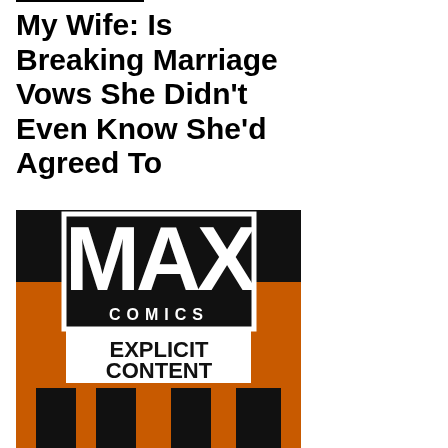My Wife: Is Breaking Marriage Vows She Didn't Even Know She'd Agreed To
[Figure (logo): MAX Comics logo with orange and black background, large white MAX text, COMICS below, EXPLICIT CONTENT label, and partial black bar design at bottom]